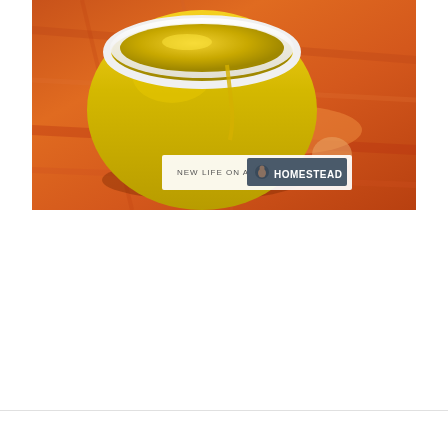[Figure (photo): A ceramic bowl or ramekin filled with yellow substance (likely ghee or clarified butter) sitting on a wooden cutting board surface. A watermark logo reading 'NEW LIFE ON A HOMESTEAD' is overlaid on the lower portion of the image.]